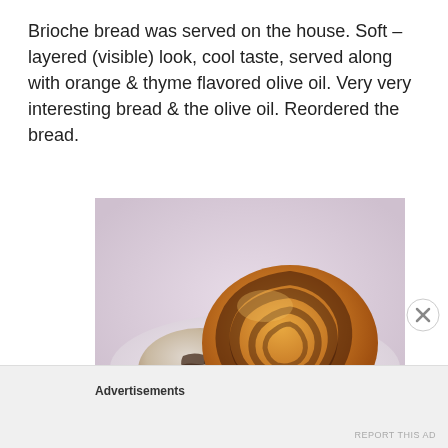Brioche bread was served on the house. Soft – layered (visible) look, cool taste, served along with orange & thyme flavored olive oil. Very very interesting bread & the olive oil. Reordered the bread.
[Figure (photo): Photo of two brioche bread rolls on a white plate — one large spiral brioche bun and one smaller piece showing the layered interior, with dark herb/olive swirls visible.]
Advertisements